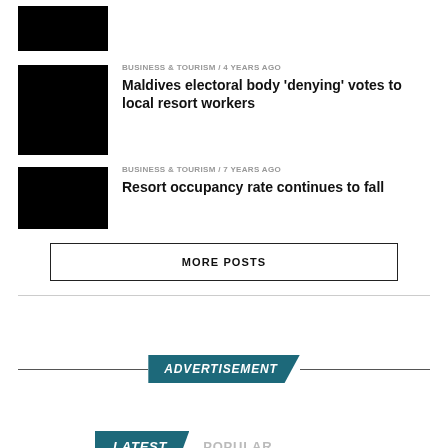[Figure (photo): Black thumbnail image for first article (partially cut off at top)]
BUSINESS & TOURISM / 4 years ago
Maldives electoral body ‘denying’ votes to local resort workers
[Figure (photo): Black thumbnail image for second article]
BUSINESS & TOURISM / 7 years ago
Resort occupancy rate continues to fall
[Figure (photo): Black thumbnail image for third article]
MORE POSTS
ADVERTISEMENT
LATEST
POPULAR